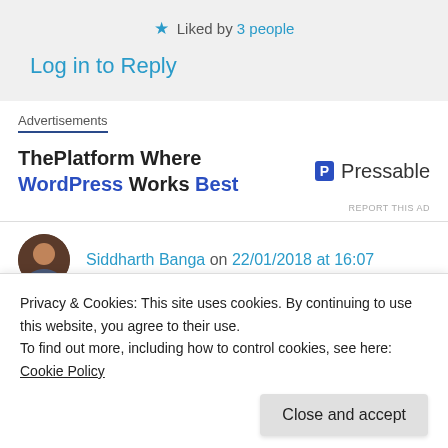★ Liked by 3 people
Log in to Reply
Advertisements
[Figure (other): Advertisement banner: ThePlatform Where WordPress Works Best - Pressable logo]
REPORT THIS AD
Siddharth Banga on 22/01/2018 at 16:07
👍 1 👎 0 ℹ Rate This
Privacy & Cookies: This site uses cookies. By continuing to use this website, you agree to their use.
To find out more, including how to control cookies, see here: Cookie Policy
Log in to Reply